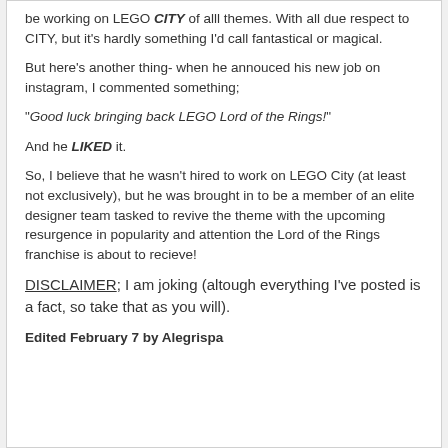be working on LEGO CITY of alll themes. With all due respect to CITY, but it's hardly something I'd call fantastical or magical.
But here's another thing- when he annouced his new job on instagram, I commented something;
"Good luck bringing back LEGO Lord of the Rings!"
And he LIKED it.
So, I believe that he wasn't hired to work on LEGO City (at least not exclusively), but he was brought in to be a member of an elite designer team tasked to revive the theme with the upcoming resurgence in popularity and attention the Lord of the Rings franchise is about to recieve!
DISCLAIMER; I am joking (altough everything I've posted is a fact, so take that as you will).
Edited February 7 by Alegrispa